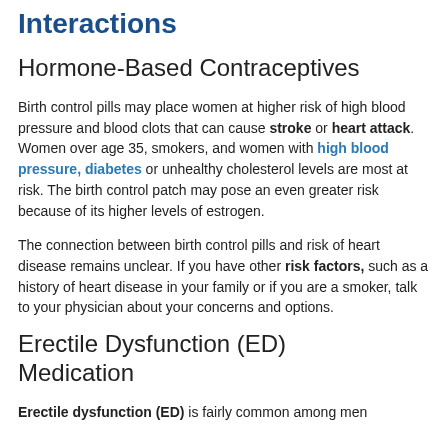Interactions
Hormone-Based Contraceptives
Birth control pills may place women at higher risk of high blood pressure and blood clots that can cause stroke or heart attack. Women over age 35, smokers, and women with high blood pressure, diabetes or unhealthy cholesterol levels are most at risk. The birth control patch may pose an even greater risk because of its higher levels of estrogen.
The connection between birth control pills and risk of heart disease remains unclear. If you have other risk factors, such as a history of heart disease in your family or if you are a smoker, talk to your physician about your concerns and options.
Erectile Dysfunction (ED) Medication
Erectile dysfunction (ED) is fairly common among men